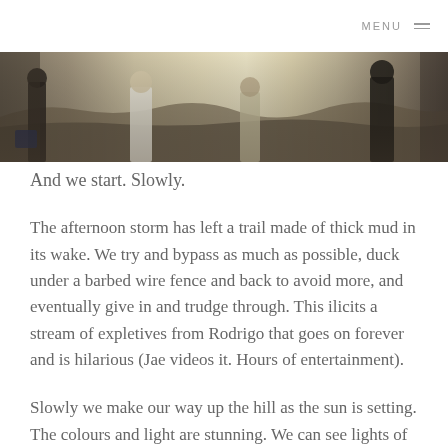MENU
[Figure (photo): Outdoor photo of people hiking or walking on a trail, partially cropped, showing figures in casual clothing against a dry hillside landscape]
And we start. Slowly.
The afternoon storm has left a trail made of thick mud in its wake. We try and bypass as much as possible, duck under a barbed wire fence and back to avoid more, and eventually give in and trudge through. This ilicits a stream of expletives from Rodrigo that goes on forever and is hilarious (Jae videos it. Hours of entertainment).
Slowly we make our way up the hill as the sun is setting. The colours and light are stunning. We can see lights of the village blinking on in the valley of the ha...